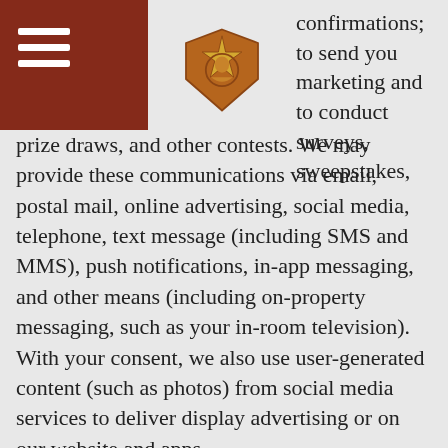confirmations; to send you marketing and to conduct surveys, sweepstakes,
prize draws, and other contests. We may provide these communications via email, postal mail, online advertising, social media, telephone, text message (including SMS and MMS), push notifications, in-app messaging, and other means (including on-property messaging, such as your in-room television). With your consent, we also use user-generated content (such as photos) from social media services to deliver display advertising or on our website and apps.
Transactions: We may collect information from your payment card, which can be appended to personal information and used by PASTA RESOURCES INC. or its business partners to recognize what type of card you have. We may also partner with third